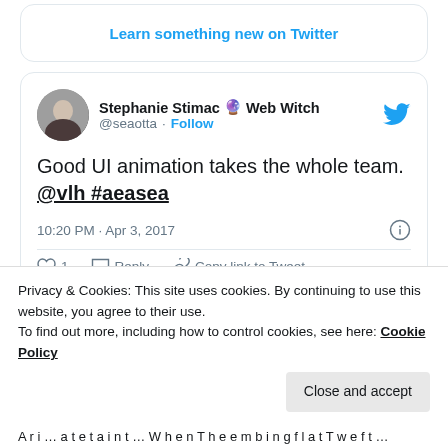Learn something new on Twitter
[Figure (screenshot): Tweet by Stephanie Stimac Web Witch (@seaotta) with text: Good UI animation takes the whole team. @vlh #aeasea. Timestamp: 10:20 PM · Apr 3, 2017. Actions: 1 like, Reply, Copy link to Tweet. Learn something new on Twitter button.]
Privacy & Cookies: This site uses cookies. By continuing to use this website, you agree to their use. To find out more, including how to control cookies, see here: Cookie Policy
Close and accept